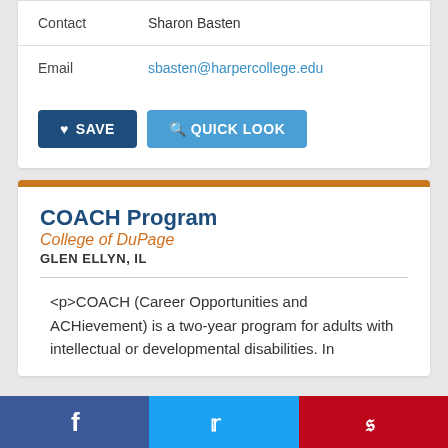| Field | Value |
| --- | --- |
| Contact | Sharon Basten |
| Email | sbasten@harpercollege.edu |
SAVE  QUICK LOOK
COACH Program
College of DuPage
GLEN ELLYN, IL
<p>COACH (Career Opportunities and ACHievement) is a two-year program for adults with intellectual or developmental disabilities. In